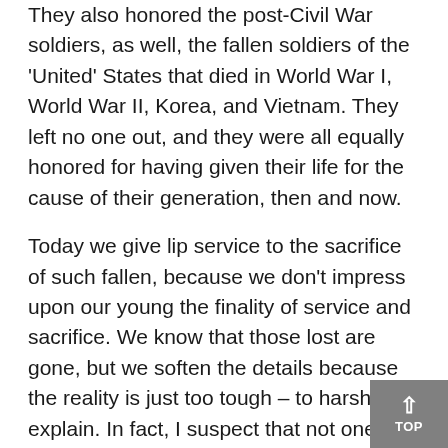They also honored the post-Civil War soldiers, as well, the fallen soldiers of the 'United' States that died in World War I, World War II, Korea, and Vietnam.  They left no one out, and they were all equally honored for having given their life for the cause of their generation, then and now.
Today we give lip service to the sacrifice of such fallen, because we don't impress upon our young the finality of service and sacrifice.  We know that those lost are gone, but we soften the details because the reality is just too tough – to harsh to explain.  In fact, I suspect that not one in a hundred understands that the casualty rate among Civil War soldiers back then was upwards of 30%.  That's unheard of in this day of warfare, when even 10% would be considered a